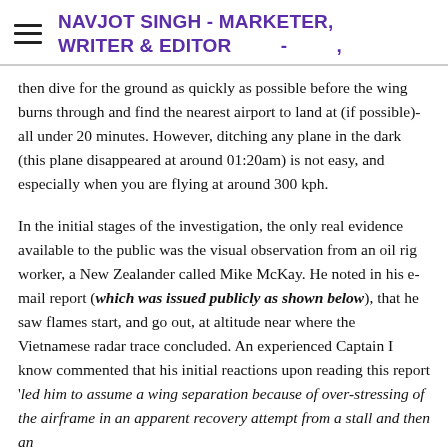NAVJOT SINGH - MARKETER, WRITER & EDITOR -  ,
then dive for the ground as quickly as possible before the wing burns through and find the nearest airport to land at (if possible)- all under 20 minutes. However, ditching any plane in the dark (this plane disappeared at around 01:20am) is not easy, and especially when you are flying at around 300 kph.
In the initial stages of the investigation, the only real evidence available to the public was the visual observation from an oil rig worker, a New Zealander called Mike McKay. He noted in his e-mail report (which was issued publicly as shown below), that he saw flames start, and go out, at altitude near where the Vietnamese radar trace concluded. An experienced Captain I know commented that his initial reactions upon reading this report 'led him to assume a wing separation because of over-stressing of the airframe in an apparent recovery attempt from a stall and then an